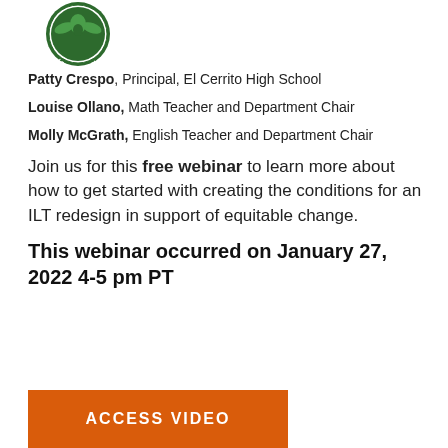[Figure (logo): El Cerrito High School circular logo, green and white, showing a bird/eagle and the text HIGH SCHOOL]
Patty Crespo, Principal, El Cerrito High School
Louise Ollano, Math Teacher and Department Chair
Molly McGrath, English Teacher and Department Chair
Join us for this free webinar to learn more about how to get started with creating the conditions for an ILT redesign in support of equitable change.
This webinar occurred on January 27, 2022 4-5 pm PT
ACCESS VIDEO